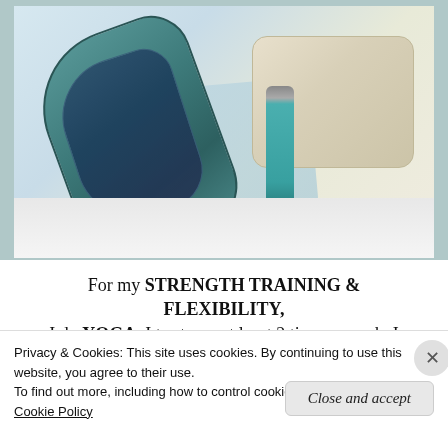[Figure (photo): A rolled yoga mat with dark navy patterned fabric wrap, a teal/turquoise water bottle, and decorative pillows (blue floral and beige/cream floral patterns) arranged on a white bed or surface.]
For my STRENGTH TRAINING & FLEXIBILITY, I do YOGA. I try to go at least 2 times a week. I
Privacy & Cookies: This site uses cookies. By continuing to use this website, you agree to their use.
To find out more, including how to control cookies, see here:
Cookie Policy
Close and accept